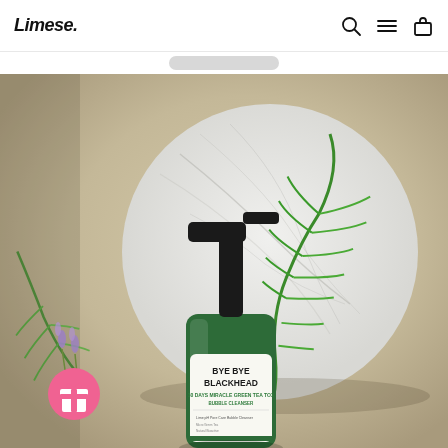Limese.
[Figure (photo): Product photo of SOME BY MI BYE BYE BLACKHEAD 30 Days Miracle Green Tea Tox Bubble Cleanser bottle with black pump dispenser, displayed on a marble circular board with green fern leaves, against a neutral beige background. A pink gift button icon is visible in the lower left corner.]